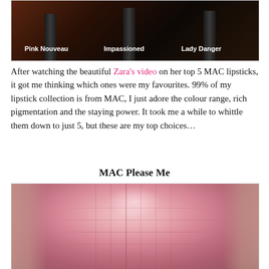[Figure (photo): Close-up photo of three MAC lipstick tubes against dark background, labeled Pink Nouveau, Impassioned, and Lady Danger in white text]
After watching the beautiful Zara's video on her top 5 MAC lipsticks, it got me thinking which ones were my favourites. 99% of my lipstick collection is from MAC, I just adore the colour range, rich pigmentation and the staying power. It took me a while to whittle them down to just 5, but these are my top choices…
MAC Please Me
[Figure (photo): Extreme close-up macro photo of lips wearing MAC Please Me lipstick, showing a pink-rose shade with visible lip texture]